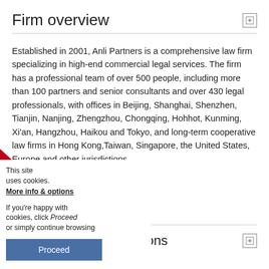Firm overview
Established in 2001, Anli Partners is a comprehensive law firm specializing in high-end commercial legal services. The firm has a professional team of over 500 people, including more than 100 partners and senior consultants and over 430 legal professionals, with offices in Beijing, Shanghai, Shenzhen, Tianjin, Nanjing, Zhengzhou, Chongqing, Hohhot, Kunming, Xi'an, Hangzhou, Haikou and Tokyo, and long-term cooperative law firms in Hong Kong,Taiwan, Singapore, the United States, Europe and other jurisdictions.
as & sector specialisations
This site uses cookies. More info & options If you're happy with cookies, click Proceed or simply continue browsing Proceed